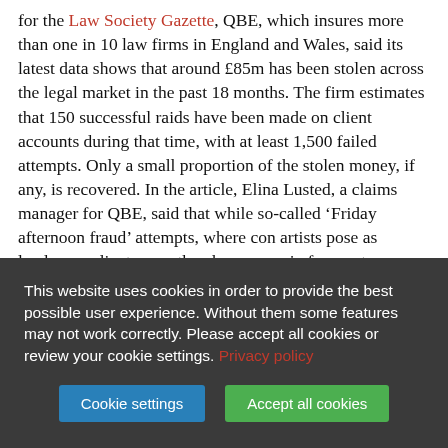for the Law Society Gazette, QBE, which insures more than one in 10 law firms in England and Wales, said its latest data shows that around £85m has been stolen across the legal market in the past 18 months. The firm estimates that 150 successful raids have been made on client accounts during that time, with at least 1,500 failed attempts. Only a small proportion of the stolen money, if any, is recovered. In the article, Elina Lusted, a claims manager for QBE, said that while so-called 'Friday afternoon fraud' attempts, where con artists pose as lenders or clients over the phone, remain frequent, criminals are now just as likely to hack into firms' IT systems to steal monies passing between solicitors and their clients in conveyancing transactions.
One of the most worrying figures that we've come across is
This website uses cookies in order to provide the best possible user experience. Without them some features may not work correctly. Please accept all cookies or review your cookie settings. Privacy policy